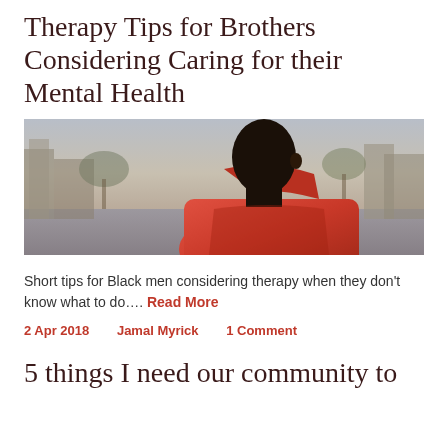Therapy Tips for Brothers Considering Caring for their Mental Health
[Figure (photo): Black man in red hoodie/jacket seen from behind, standing outdoors on a city street with trees and buildings in background, desaturated/muted tones]
Short tips for Black men considering therapy when they don't know what to do…. Read More
2 Apr 2018    Jamal Myrick    1 Comment
5 things I need our community to